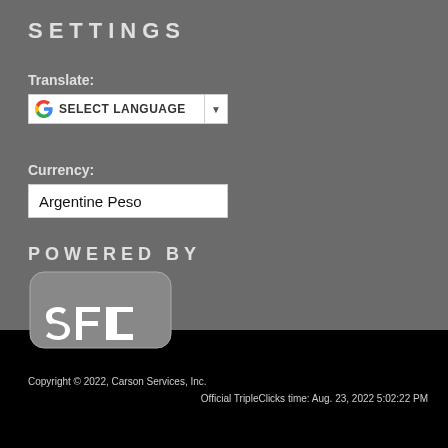SETTINGS
Translate:
[Figure (screenshot): Google Translate widget with SELECT LANGUAGE dropdown]
Currency:
Argentine Peso
POWERED BY
[Figure (logo): SFI logo - white letters SFI in a rounded rectangle on grey background]
Copyright © 2022, Carson Services, Inc.
Official TripleClicks time: Aug. 23, 2022 5:02:22 PM